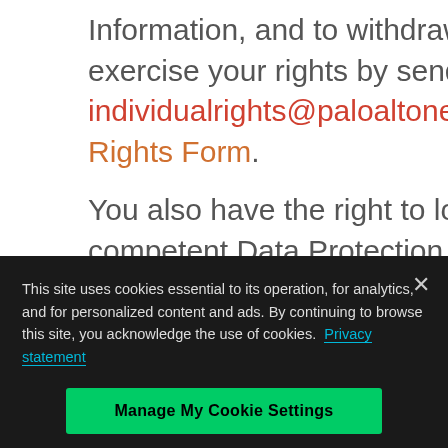Information, and to withdraw your consent. You can exercise your rights by sending an email to individualrights@paloaltonetworks.com Or filling Individual Rights Form.
You also have the right to lodge a complaint with the competent Data Protection Authority
INFORMATION FROM THIRD PARTIES
This location provides with information th...
This site uses cookies essential to its operation, for analytics, and for personalized content and ads. By continuing to browse this site, you acknowledge the use of cookies. Privacy statement
Manage My Cookie Settings